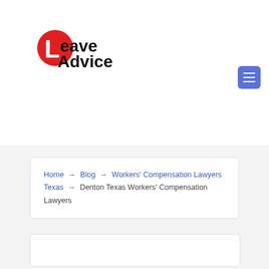[Figure (logo): Leave Advice logo with red circle containing white L and black text 'Leave Advice']
Home → Blog → Workers' Compensation Lawyers Texas → Denton Texas Workers' Compensation Lawyers